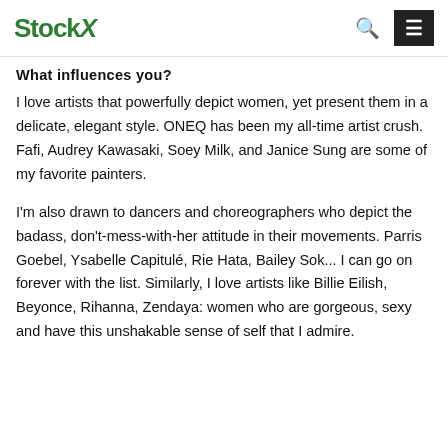StockX
What influences you?
I love artists that powerfully depict women, yet present them in a delicate, elegant style. ONEQ has been my all-time artist crush. Fafi, Audrey Kawasaki, Soey Milk, and Janice Sung are some of my favorite painters.
I'm also drawn to dancers and choreographers who depict the badass, don't-mess-with-her attitude in their movements. Parris Goebel, Ysabelle Capitulé, Rie Hata, Bailey Sok... I can go on forever with the list. Similarly, I love artists like Billie Eilish, Beyonce, Rihanna, Zendaya: women who are gorgeous, sexy and have this unshakable sense of self that I admire.